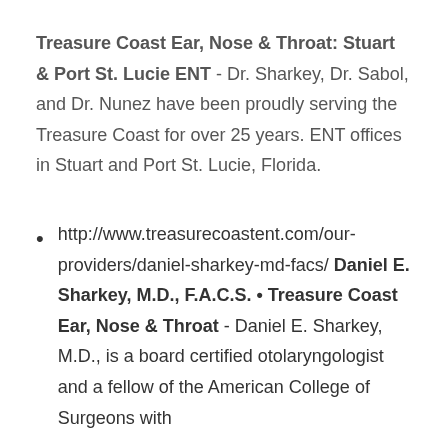Treasure Coast Ear, Nose & Throat: Stuart & Port St. Lucie ENT - Dr. Sharkey, Dr. Sabol, and Dr. Nunez have been proudly serving the Treasure Coast for over 25 years. ENT offices in Stuart and Port St. Lucie, Florida.
http://www.treasurecoastent.com/our-providers/daniel-sharkey-md-facs/ Daniel E. Sharkey, M.D., F.A.C.S. • Treasure Coast Ear, Nose & Throat - Daniel E. Sharkey, M.D., is a board certified otolaryngologist and a fellow of the American College of Surgeons with